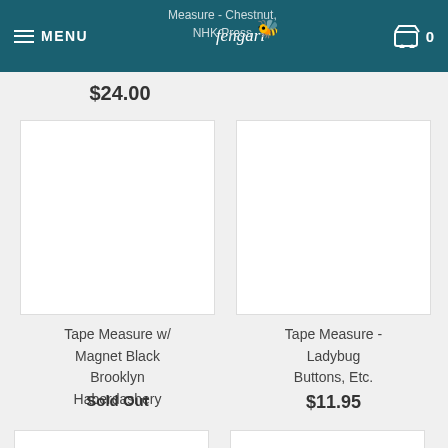Fengari - Menu, Cart 0
Measure - Chestnut, NHK Press
$24.00
[Figure (photo): Product image placeholder - white rectangle for Tape Measure w/ Magnet Black Brooklyn Haberdashery]
Tape Measure w/ Magnet Black Brooklyn Haberdashery
Sold Out
[Figure (photo): Product image placeholder - white rectangle for Tape Measure - Ladybug Buttons, Etc.]
Tape Measure - Ladybug Buttons, Etc.
$11.95
[Figure (photo): Partially visible product image bottom left]
[Figure (photo): Partially visible product image bottom right]